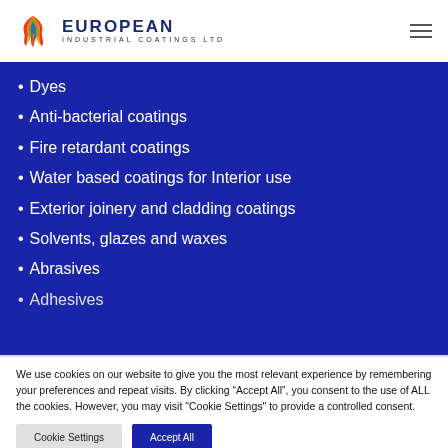[Figure (logo): European Industrial Coatings Ltd logo with colorful swirl icon and text]
Dyes
Anti-bacterial coatings
Fire retardant coatings
Water based coatings for Interior use
Exterior joinery and cladding coatings
Solvents, glazes and waxes
Abrasives
Adhesives
We use cookies on our website to give you the most relevant experience by remembering your preferences and repeat visits. By clicking "Accept All", you consent to the use of ALL the cookies. However, you may visit "Cookie Settings" to provide a controlled consent.